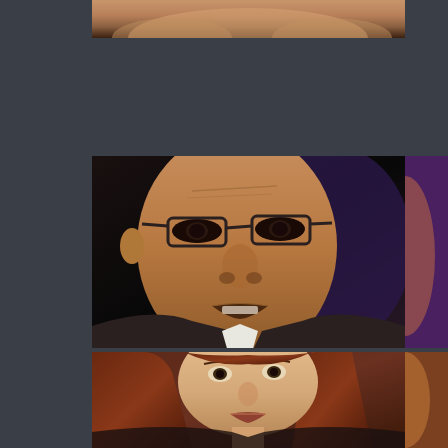[Figure (photo): Partial cropped photo at top showing lower portion of a person, warm tones, brownish background]
[Figure (photo): Close-up portrait of a middle-aged man with glasses, dark skin, wearing a suit with white shirt, looking forward with mouth slightly open, dark blurred background]
[Figure (photo): Close-up portrait of a young woman with long dark reddish-brown hair, looking upward with mouth slightly open, warm brownish background]